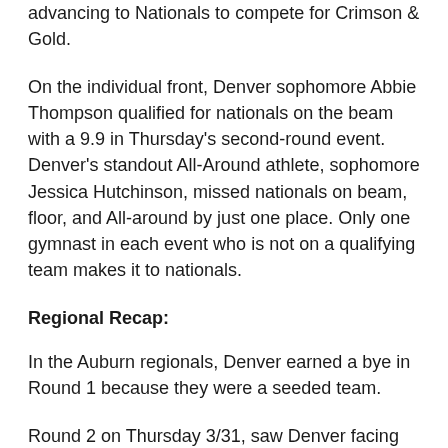advancing to Nationals to compete for Crimson & Gold.
On the individual front, Denver sophomore Abbie Thompson qualified for nationals on the beam with a 9.9 in Thursday's second-round event. Denver's standout All-Around athlete, sophomore Jessica Hutchinson, missed nationals on beam, floor, and All-around by just one place. Only one gymnast in each event who is not on a qualifying team makes it to nationals.
Regional Recap:
In the Auburn regionals, Denver earned a bye in Round 1 because they were a seeded team.
Round 2 on Thursday 3/31, saw Denver facing off against Florida, Iowa State, and Ohio State. Denver did just enough in this round to advance to the regional finals. This round also determined which individuals from teams who don't qualify for